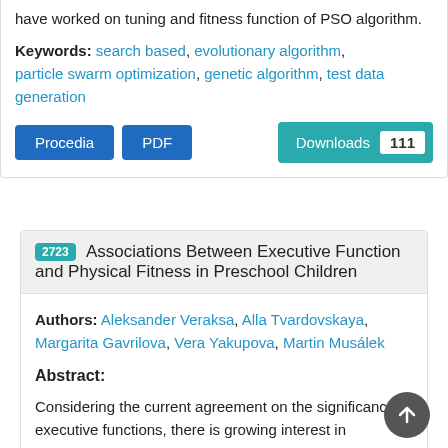have worked on tuning and fitness function of PSO algorithm.
Keywords: search based, evolutionary algorithm, particle swarm optimization, genetic algorithm, test data generation
[Figure (other): Buttons: Procedia, PDF, Downloads 111]
2723 Associations Between Executive Function and Physical Fitness in Preschool Children
Authors: Aleksander Veraksa, Alla Tvardovskaya, Margarita Gavrilova, Vera Yakupova, Martin Musálek
Abstract:
Considering the current agreement on the significance of executive functions, there is growing interest in